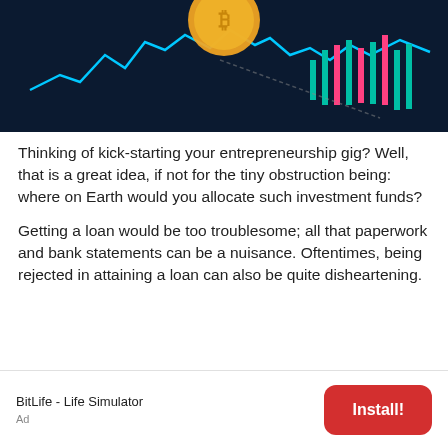[Figure (photo): Cryptocurrency/finance themed image: gold Bitcoin coin above a dark background with blue line chart and teal/red candlestick bars]
Thinking of kick-starting your entrepreneurship gig? Well, that is a great idea, if not for the tiny obstruction being: where on Earth would you allocate such investment funds?
Getting a loan would be too troublesome; all that paperwork and bank statements can be a nuisance. Oftentimes, being rejected in attaining a loan can also be quite disheartening.
BitLife - Life Simulator
Ad
Install!